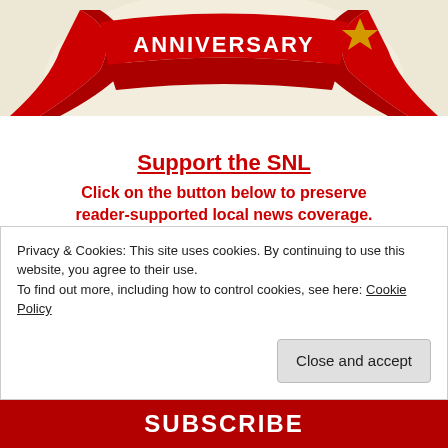[Figure (illustration): Anniversary ribbon/banner graphic with red ribbons and decorative elements against a light beige background]
Support the SNL
Click on the button below to preserve reader-supported local news coverage. Become a subscriber for only $30 per year.
Privacy & Cookies: This site uses cookies. By continuing to use this website, you agree to their use.
To find out more, including how to control cookies, see here: Cookie Policy
Close and accept
SUBSCRIBE